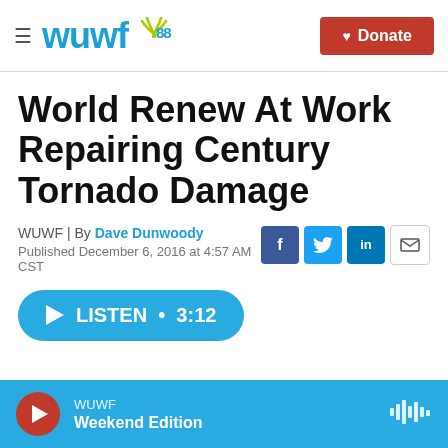WUWF 88.1 | Donate
World Renew At Work Repairing Century Tornado Damage
WUWF | By Dave Dunwoody
Published December 6, 2016 at 4:57 AM CST
LISTEN • 3:12
WUWF Weekend Edition